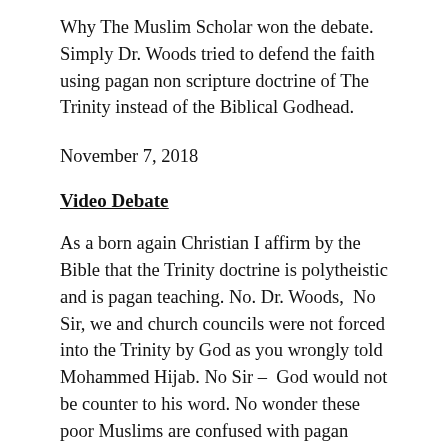Why The Muslim Scholar won the debate. Simply Dr. Woods tried to defend the faith using pagan non scripture doctrine of The Trinity instead of the Biblical Godhead.
November 7, 2018
Video Debate
As a born again Christian I affirm by the Bible that the Trinity doctrine is polytheistic and is pagan teaching. No. Dr. Woods,  No Sir, we and church councils were not forced into the Trinity by God as you wrongly told Mohammed Hijab. No Sir –  God would not be counter to his word. No wonder these poor Muslims are confused with pagan polytheism Trinity doctrine. No wonder this devout Muslim scholar destroyed Dr. Woods and why Dr. Woods could not answer the Muslim question of why there was no Trinity doctrine in the first 300 years of